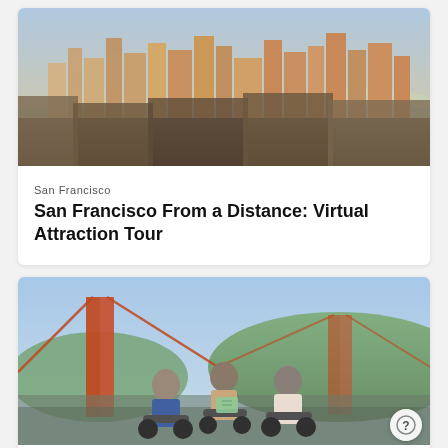[Figure (photo): Aerial cityscape photo of San Francisco skyline with dense urban buildings and the bay in the background, warm golden light.]
San Francisco
San Francisco From a Distance: Virtual Attraction Tour
[Figure (photo): Three people wearing helmets sitting on scooters/mopeds in front of the Golden Gate Bridge, smiling and looking at a map.]